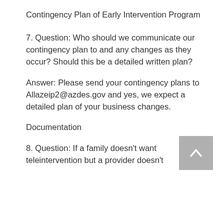Contingency Plan of Early Intervention Program
7. Question: Who should we communicate our contingency plan to and any changes as they occur? Should this be a detailed written plan?
Answer: Please send your contingency plans to Allazeip2@azdes.gov and yes, we expect a detailed plan of your business changes.
Documentation
8. Question: If a family doesn't want teleintervention but a provider doesn't